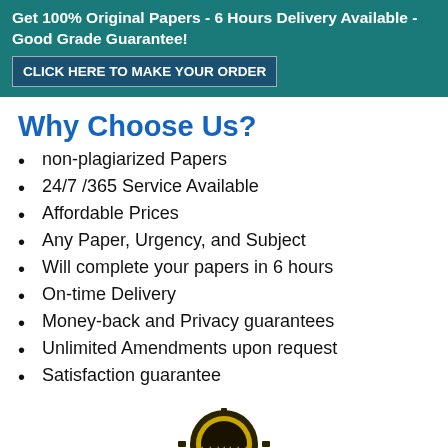Get 100% Original Papers - 6 Hours Delivery Available - Good Grade Guarantee! CLICK HERE TO MAKE YOUR ORDER
Why Choose Us?
non-plagiarized Papers
24/7 /365 Service Available
Affordable Prices
Any Paper, Urgency, and Subject
Will complete your papers in 6 hours
On-time Delivery
Money-back and Privacy guarantees
Unlimited Amendments upon request
Satisfaction guarantee
[Figure (illustration): Gold and dark circular badge/seal with gear border and stars]